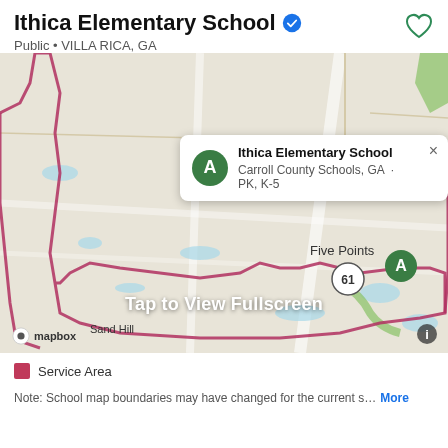Ithica Elementary School
Public • VILLA RICA, GA
[Figure (map): Map showing school boundary for Ithica Elementary School in Villa Rica, GA. A popup shows 'Ithica Elementary School, Carroll County Schools, GA · PK, K-5'. Map markers show '61' and 'A'. Label 'Five Points' and 'Sand Hill' visible. Red boundary line outlines school service area. 'Tap to View Fullscreen' overlay text present. Mapbox attribution shown.]
Service Area
Note: School map boundaries may have changed for the current s…
More